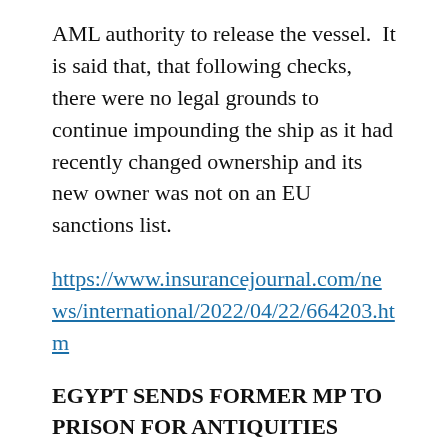AML authority to release the vessel.  It is said that, that following checks, there were no legal grounds to continue impounding the ship as it had recently changed ownership and its new owner was not on an EU sanctions list.
https://www.insurancejournal.com/news/international/2022/04/22/664203.htm
EGYPT SENDS FORMER MP TO PRISON FOR ANTIQUITIES SMUGGLING
On 22 April, Latestly in India reported that an Egyptian court sentenced a former member of parliament and others to 10 years in prison for smuggling antiquities out of the country, as